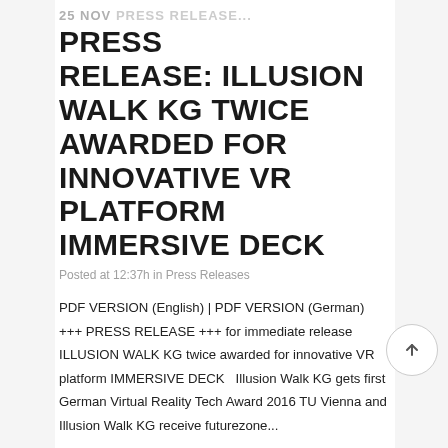25 NOV PRESS RELEASE: ILLUSION WALK KG TWICE AWARDED FOR INNOVATIVE VR PLATFORM IMMERSIVE DECK
PRESS RELEASE: ILLUSION WALK KG TWICE AWARDED FOR INNOVATIVE VR PLATFORM IMMERSIVE DECK
Posted at 12:37h in Press Releases
PDF VERSION (English) | PDF VERSION (German) +++ PRESS RELEASE +++ for immediate release ILLUSION WALK KG twice awarded for innovative VR platform IMMERSIVE DECK   Illusion Walk KG gets first German Virtual Reality Tech Award 2016 TU Vienna and Illusion Walk KG receive futurezone...